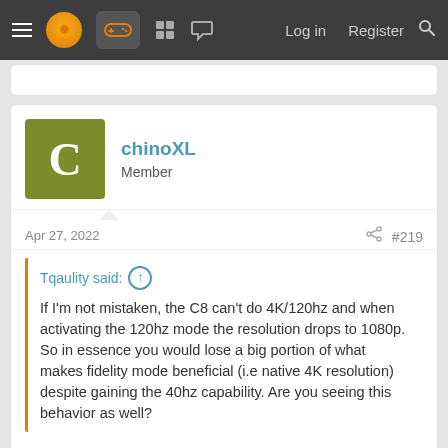≡  [logo]  [gamepad icon]  [grid icon]  [chat icon]  Log in  Register  🔍
chinoXL
Member
Apr 27, 2022
#219
Tqaulity said: ↑
If I'm not mistaken, the C8 can't do 4K/120hz and when activating the 120hz mode the resolution drops to 1080p. So in essence you would lose a big portion of what makes fidelity mode beneficial (i.e native 4K resolution) despite gaining the 40hz capability. Are you seeing this behavior as well?
you're right, it does only support it at 1080p but the image looks real crisp..it must be the temporal injection they use i'm guessing because i can usually tell the difference easily from 1080p to 4k and i did switch the modes around just to see if i could spot the difference...hopefully it wasn't just a placebo